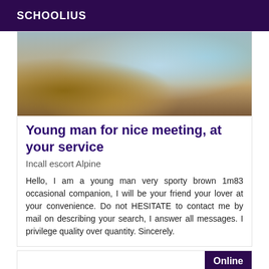SCHOOLIUS
[Figure (photo): Blurred photo showing hands with banknotes and colorful papers/cards on a dark surface]
Young man for nice meeting, at your service
Incall escort Alpine
Hello, I am a young man very sporty brown 1m83 occasional companion, I will be your friend your lover at your convenience. Do not HESITATE to contact me by mail on describing your search, I answer all messages. I privilege quality over quantity. Sincerely.
[Figure (photo): Partially visible card with Online badge in top right corner]